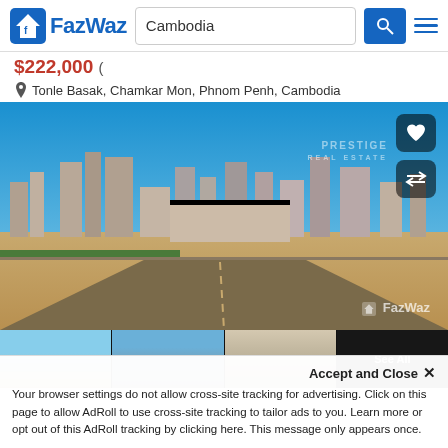[Figure (logo): FazWaz logo — house icon with 'f' inside, blue text 'FazWaz']
Cambodia
$222,000 (partially visible)
Tonle Basak, Chamkar Mon, Phnom Penh, Cambodia
[Figure (photo): Aerial cityscape photo showing sandy urban roads, construction sites, and distant skyline with tall buildings under clear blue sky. Prestige Real Estate watermark visible, FazWaz watermark at bottom right. Heart and swap icons in top right corner.]
[Figure (photo): Four thumbnail images of the property listing. The last thumbnail has a 'See All' overlay.]
Accept and Close ✕
Your browser settings do not allow cross-site tracking for advertising. Click on this page to allow AdRoll to use cross-site tracking to tailor ads to you. Learn more or opt out of this AdRoll tracking by clicking here. This message only appears once.